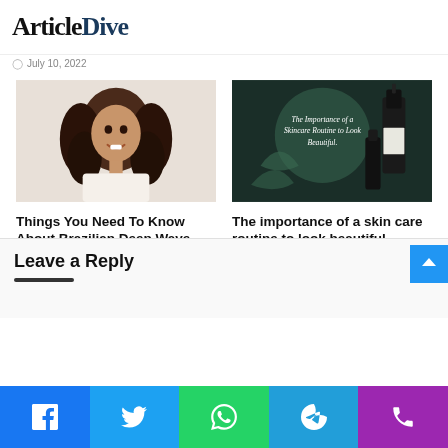ArticleDive
July 10, 2022
[Figure (photo): Woman with long curly black hair smiling]
Things You Need To Know About Brazilian Deep Wave
July 6, 2022
[Figure (photo): Dark green background with skincare products and text: The Importance of a Skincare Routine to Look Beautiful.]
The importance of a skin care routine to look beautiful
June 20, 2022
Leave a Reply